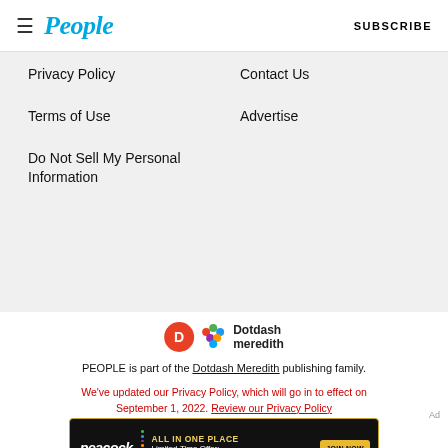People — SUBSCRIBE
Privacy Policy
Contact Us
Terms of Use
Advertise
Do Not Sell My Personal Information
[Figure (logo): Dotdash Meredith logo with orange D circle and colorful diamond pattern]
PEOPLE is part of the Dotdash Meredith publishing family.
We've updated our Privacy Policy, which will go in to effect on September 1, 2022. Review our Privacy Policy
[Figure (other): Peacock advertisement banner: ALL IN ONE PLACE, Limited-Time Offer: $1.99/mo, JOIN NOW]